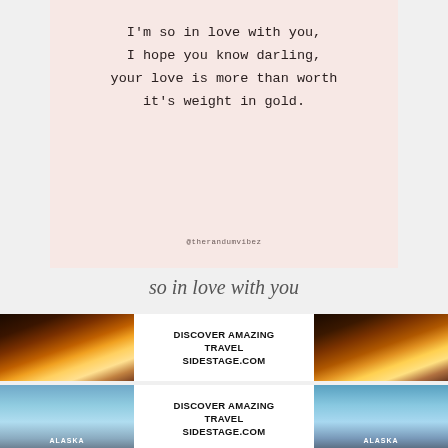[Figure (other): Pink background quote card with typewriter-style text reading: I'm so in love with you, I hope you know darling, your love is more than worth it's weight in gold. Attribution: @therandumvibez]
so in love with you
[Figure (other): Advertisement banner with sunset landscape images on left and right, center text: DISCOVER AMAZING TRAVEL SIDESTAGE.COM]
[Figure (other): Advertisement banner with glacier/Alaska images on left and right labeled ALASKA, center text: DISCOVER AMAZING TRAVEL SIDESTAGE.COM]